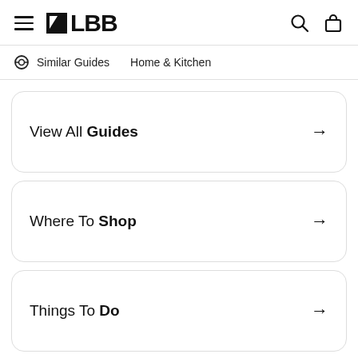LBB
Similar Guides   Home & Kitchen
View All Guides →
Where To Shop →
Things To Do →
Open In App  ×
What To Eat →